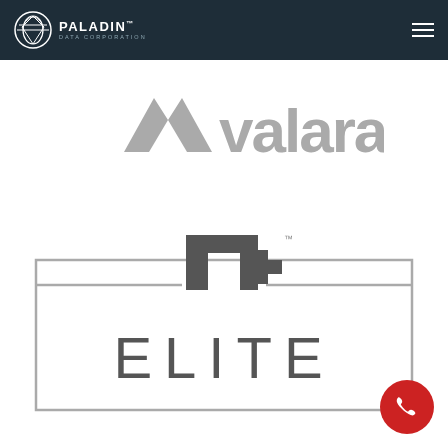Paladin Data Corporation
[Figure (logo): Avalara logo in gray]
[Figure (logo): NetSuite N+ Elite partner logo in gray with rectangular border]